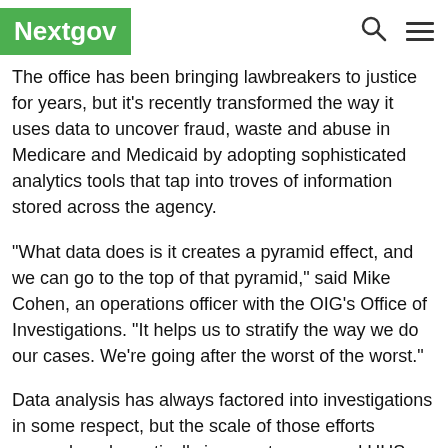Nextgov
The office has been bringing lawbreakers to justice for years, but it's recently transformed the way it uses data to uncover fraud, waste and abuse in Medicare and Medicaid by adopting sophisticated analytics tools that tap into troves of information stored across the agency.
"What data does is it creates a pyramid effect, and we can go to the top of that pyramid," said Mike Cohen, an operations officer with the OIG's Office of Investigations. "It helps us to stratify the way we do our cases. We're going after the worst of the worst."
Data analysis has always factored into investigations in some respect, but the scale of those efforts ramped up dramatically in recent years, and HHS plans to use the office's success to set the bar for open data efforts across the entire federal government.